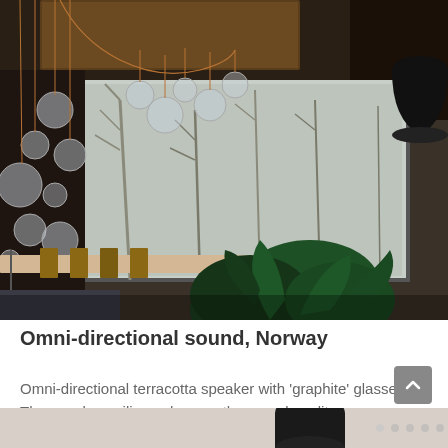[Figure (photo): Interior dining room photo showing hanging glass bubble pendant lights suspended from a wooden beam ceiling, a long dining table with chairs, large floor-to-ceiling windows overlooking bare winter trees, green tropical plants in foreground, and a dark dome speaker on the right side.]
Omni-directional sound, Norway
Omni-directional terracotta speaker with ‘graphite’ glasses. The wooden ceiling enhances the sound quality.